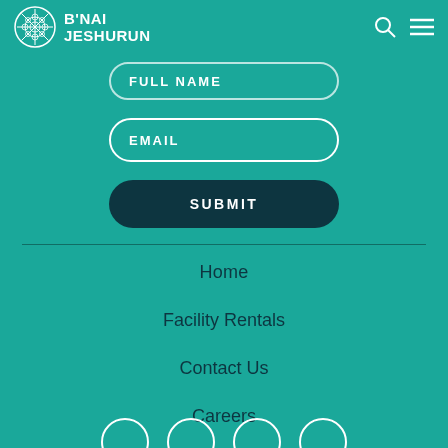[Figure (logo): B'nai Jeshurun logo with geometric circular snowflake/star pattern and text 'B'NAI JESHURUN']
FULL NAME
EMAIL
SUBMIT
Home
Facility Rentals
Contact Us
Careers